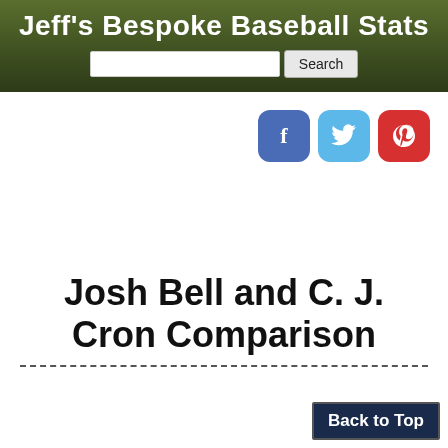Jeff's Bespoke Baseball Stats
[Figure (other): Social media share buttons: Facebook (blue), Twitter (light blue), Pinterest (red)]
Josh Bell and C. J. Cron Comparison
Back to Top